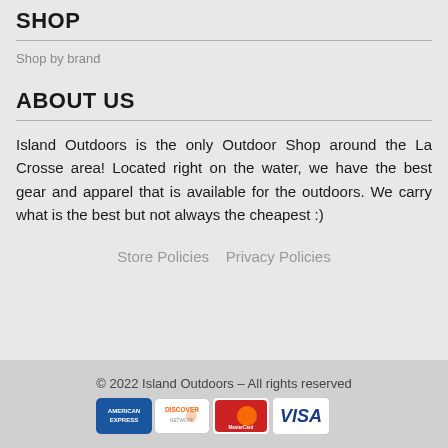SHOP
Shop by brand
ABOUT US
Island Outdoors is the only Outdoor Shop around the La Crosse area! Located right on the water, we have the best gear and apparel that is available for the outdoors. We carry what is the best but not always the cheapest :)
Store Policies    Privacy Policies
© 2022 Island Outdoors – All rights reserved